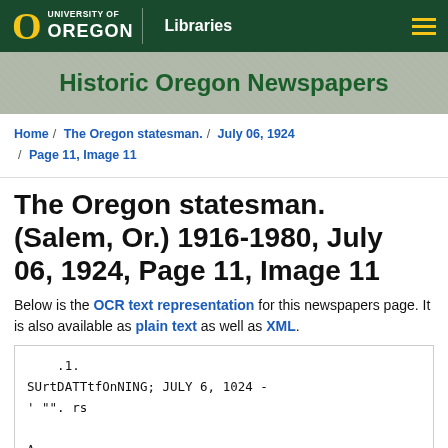[Figure (logo): University of Oregon Libraries logo and navigation bar with dark green background, yellow O logo, and hamburger menu]
[Figure (illustration): Historic Oregon Newspapers banner with map background texture and green title text]
Home / The Oregon statesman. / July 06, 1924 / Page 11, Image 11
The Oregon statesman. (Salem, Or.) 1916-1980, July 06, 1924, Page 11, Image 11
Below is the OCR text representation for this newspapers page. It is also available as plain text as well as XML.
.1.
SUrtDATTtfOnNING; JULY 6, 1024 -
' "". rs

A